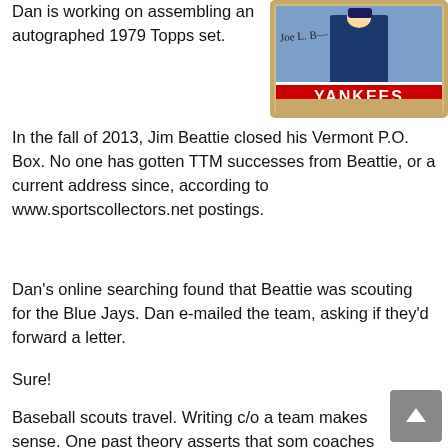Dan is working on assembling an autographed 1979 Topps set.
[Figure (photo): A signed 1979 Topps Yankees baseball card with an autograph on it, showing a player in a Yankees uniform with a red Yankees banner at the bottom.]
In the fall of 2013, Jim Beattie closed his Vermont P.O. Box. No one has gotten TTM successes from Beattie, or a current address since, according to www.sportscollectors.net postings.
Dan's online searching found that Beattie was scouting for the Blue Jays. Dan e-mailed the team, asking if they'd forward a letter.
Sure!
Baseball scouts travel. Writing c/o a team makes sense. One past theory asserts that som coaches and scouts may still have the idea of autographs as being a work-related job